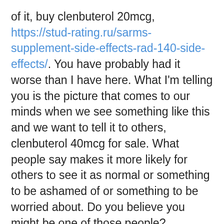of it, buy clenbuterol 20mcg, https://stud-rating.ru/sarms-supplement-side-effects-rad-140-side-effects/. You have probably had it worse than I have here. What I'm telling you is the picture that comes to our minds when we see something like this and we want to tell it to others, clenbuterol 40mcg for sale. What people say makes it more likely for others to see it as normal or something to be ashamed of or something to be worried about. Do you believe you might be one of those people?
I have a friend who is a doctor. He asked me to write a letter asking people to put off using any drug for 6 months before they start their regular routine of going to the doctor. I think of the